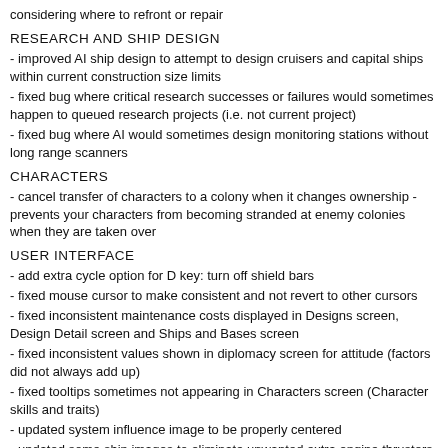considering where to refront or repair
RESEARCH AND SHIP DESIGN
- improved AI ship design to attempt to design cruisers and capital ships within current construction size limits
- fixed bug where critical research successes or failures would sometimes happen to queued research projects (i.e. not current project)
- fixed bug where AI would sometimes design monitoring stations without long range scanners
CHARACTERS
- cancel transfer of characters to a colony when it changes ownership - prevents your characters from becoming stranded at enemy colonies when they are taken over
USER INTERFACE
- add extra cycle option for D key: turn off shield bars
- fixed mouse cursor to make consistent and not revert to other cursors
- fixed inconsistent maintenance costs displayed in Designs screen, Design Detail screen and Ships and Bases screen
- fixed inconsistent values shown in diplomacy screen for attitude (factors did not always add up)
- fixed tooltips sometimes not appearing in Characters screen (Character skills and traits)
- updated system influence image to be properly centered
- updated some ship images to eliminate unwanted extra engine thrusters